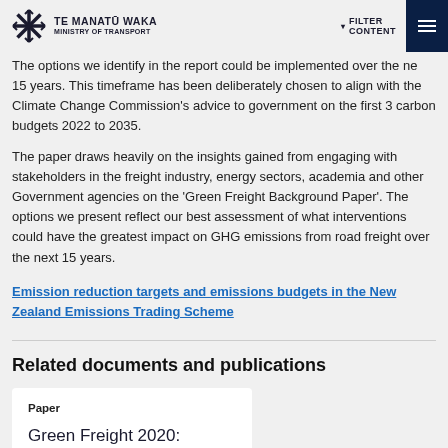Te Manatū Waka — Ministry of Transport
your views on the options presented in this paper.
The options we identify in the report could be implemented over the next 15 years. This timeframe has been deliberately chosen to align with the Climate Change Commission's advice to government on the first 3 carbon budgets 2022 to 2035.
The paper draws heavily on the insights gained from engaging with stakeholders in the freight industry, energy sectors, academia and other Government agencies on the 'Green Freight Background Paper'. The options we present reflect our best assessment of what interventions could have the greatest impact on GHG emissions from road freight over the next 15 years.
Emission reduction targets and emissions budgets in the New Zealand Emissions Trading Scheme
Related documents and publications
Paper
Green Freight 2020: Strategic Working Paper